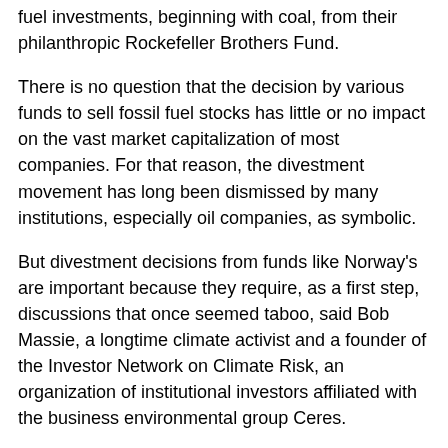fuel investments, beginning with coal, from their philanthropic Rockefeller Brothers Fund.
There is no question that the decision by various funds to sell fossil fuel stocks has little or no impact on the vast market capitalization of most companies. For that reason, the divestment movement has long been dismissed by many institutions, especially oil companies, as symbolic.
But divestment decisions from funds like Norway's are important because they require, as a first step, discussions that once seemed taboo, said Bob Massie, a longtime climate activist and a founder of the Investor Network on Climate Risk, an organization of institutional investors affiliated with the business environmental group Ceres.
“It lays the groundwork for the transformation of cultural and political views in a major topic that people would rather avoid,” he said. “This requires people to say, ‘What are we going to do? What are our choices? What do we believe in?’ ”